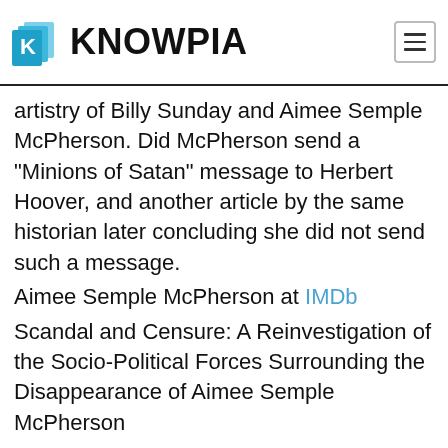KNOWPIA
artistry of Billy Sunday and Aimee Semple McPherson. Did McPherson send a "Minions of Satan" message to Herbert Hoover, and another article by the same historian later concluding she did not send such a message.
Aimee Semple McPherson at IMDb
Scandal and Censure: A Reinvestigation of the Socio-Political Forces Surrounding the Disappearance of Aimee Semple McPherson
By using this platform, you agree to the Terms of Use ©2020 Knowpia   About   How it Works   Privacy   Disclaimer   Contact   FAQ